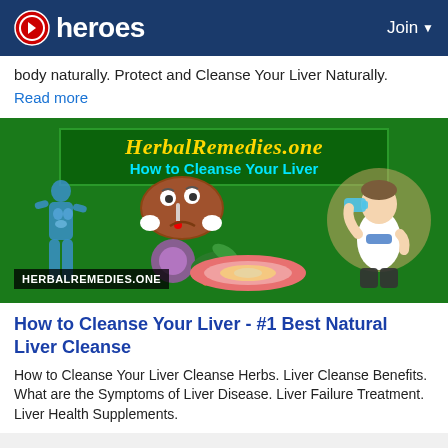heroes  Join
body naturally. Protect and Cleanse Your Liver Naturally.
Read more
[Figure (illustration): HerbalRemedies.one promotional image showing 'How to Cleanse Your Liver' with a human body diagram, cartoon liver character, herbs, a man drinking water, and an artery illustration. Green background with yellow italic site name and cyan subtitle. HERBALREMEDIES.ONE label bottom left.]
How to Cleanse Your Liver - #1 Best Natural Liver Cleanse
How to Cleanse Your Liver Cleanse Herbs. Liver Cleanse Benefits. What are the Symptoms of Liver Disease. Liver Failure Treatment. Liver Health Supplements.